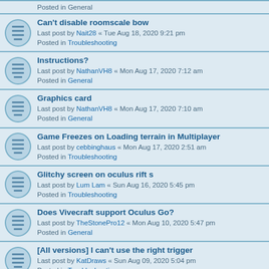Posted in General
Can't disable roomscale bow
Last post by Nait28 « Tue Aug 18, 2020 9:21 pm
Posted in Troubleshooting
Instructions?
Last post by NathanVH8 « Mon Aug 17, 2020 7:12 am
Posted in General
Graphics card
Last post by NathanVH8 « Mon Aug 17, 2020 7:10 am
Posted in General
Game Freezes on Loading terrain in Multiplayer
Last post by cebbinghaus « Mon Aug 17, 2020 2:51 am
Posted in Troubleshooting
Glitchy screen on oculus rift s
Last post by Lum Lam « Sun Aug 16, 2020 5:45 pm
Posted in Troubleshooting
Does Vivecraft support Oculus Go?
Last post by TheStonePro12 « Mon Aug 10, 2020 5:47 pm
Posted in General
[All versions] I can't use the right trigger
Last post by KatDraws « Sun Aug 09, 2020 5:04 pm
Posted in Troubleshooting
When I launch 1.16.1 my headset loses tracking (Rift S)
Last post by ppbig « Sun Aug 09, 2020 6:30 am
Posted in Troubleshooting